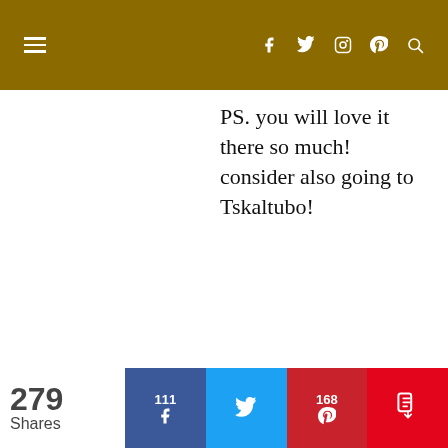Navigation header with menu icon and social icons: facebook, twitter, instagram, pinterest, search
PS. you will love it there so much! consider also going to Tskaltubo!
MARK BENNETTS
16/12/2017 at 08:31
Kami and the rest of the world We arrive on 30 May and and will spend June and July in
279 Shares | 111 Facebook | Twitter | 168 Pinterest | Flipboard